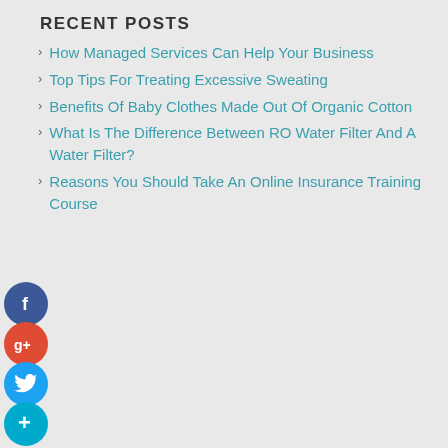RECENT POSTS
How Managed Services Can Help Your Business
Top Tips For Treating Excessive Sweating
Benefits Of Baby Clothes Made Out Of Organic Cotton
What Is The Difference Between RO Water Filter And A Water Filter?
Reasons You Should Take An Online Insurance Training Course
ARCHIVES
August 2022
July 2022
June 2022
May 2022
April 2022
March 2022